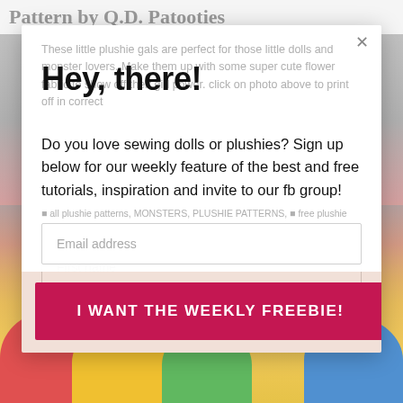Pattern by Q.D. Patooties
[Figure (screenshot): Email signup modal overlay on a webpage showing colorful plushie toys in the background. Modal contains a heading 'Hey, there!', faded background text about plushie patterns, signup text, first name and email address input fields, and a pink 'I WANT THE WEEKLY FREEBIE!' button.]
These little plushie gals are perfect for those little dolls and monster lovers. Make them up with some super cute flower fabric to show off their girl power. click on photo above to print off in correct
Hey, there!
Do you love sewing dolls or plushies? Sign up below for our weekly feature of the best and free tutorials, inspiration and invite to our fb group!
all plushie patterns, MONSTERS, PLUSHIE PATTERNS, free plushie pattern, monster plushie pattern
First name
Email address
I WANT THE WEEKLY FREEBIE!